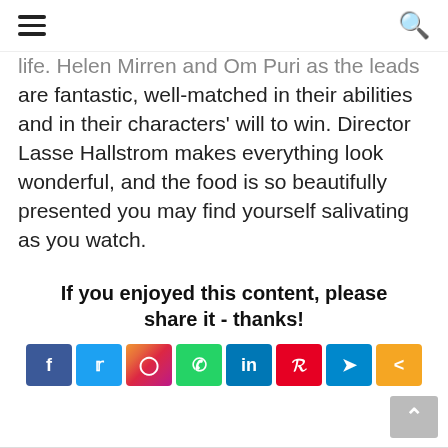[hamburger menu icon] [search icon]
life. Helen Mirren and Om Puri as the leads are fantastic, well-matched in their abilities and in their characters' will to win. Director Lasse Hallstrom makes everything look wonderful, and the food is so beautifully presented you may find yourself salivating as you watch.
If you enjoyed this content, please share it - thanks!
[Figure (infographic): Social share buttons: Facebook (blue), Twitter (light blue), Instagram (gradient pink/orange), WhatsApp (green), LinkedIn (dark blue), Pinterest (red), Telegram (blue), Share (orange)]